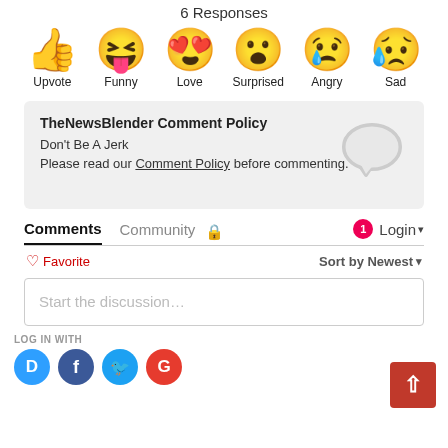6 Responses
[Figure (illustration): Row of six emoji reaction icons with labels: Upvote (thumbs up), Funny (laughing face with tongue), Love (heart eyes), Surprised (wow face), Angry (crying angry face), Sad (sad face with tear)]
TheNewsBlender Comment Policy
Don't Be A Jerk
Please read our Comment Policy before commenting.
Comments   Community   🔒                 1  Login ▾
♡ Favorite                                   Sort by Newest ▾
Start the discussion...
LOG IN WITH
[Figure (illustration): Four social login circles: Disqus (D, blue), Facebook (f, dark blue), Twitter (bird, light blue), Google (G, red)]